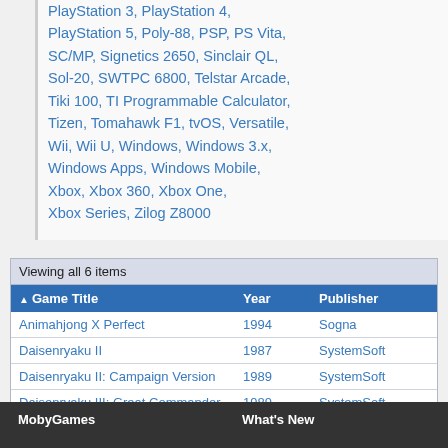PlayStation 3, PlayStation 4, PlayStation 5, Poly-88, PSP, PS Vita, SC/MP, Signetics 2650, Sinclair QL, Sol-20, SWTPC 6800, Telstar Arcade, Tiki 100, TI Programmable Calculator, Tizen, Tomahawk F1, tvOS, Versatile, Wii, Wii U, Windows, Windows 3.x, Windows Apps, Windows Mobile, Xbox, Xbox 360, Xbox One, Xbox Series, Zilog Z8000
| Game Title | Year | Publisher |
| --- | --- | --- |
| Animahjong X Perfect | 1994 | Sogna |
| Daisenryaku II | 1987 | SystemSoft |
| Daisenryaku II: Campaign Version | 1989 | SystemSoft |
| Daisenryaku III: Great Commander | 1989 | SystemSoft |
| Daisenryaku: Power Up Set | 1986 | SystemSoft |
| Super Real Mahjong: PII & PIII | 1993 | Ving Co., Ltd. |
MobyGames   What's New